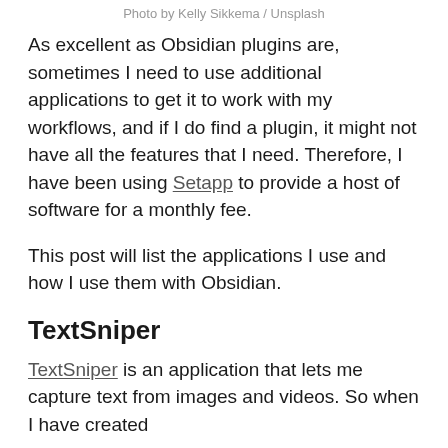Photo by Kelly Sikkema / Unsplash
As excellent as Obsidian plugins are, sometimes I need to use additional applications to get it to work with my workflows, and if I do find a plugin, it might not have all the features that I need. Therefore, I have been using Setapp to provide a host of software for a monthly fee.
This post will list the applications I use and how I use them with Obsidian.
TextSniper
TextSniper is an application that lets me capture text from images and videos. So when I have created content in Obsidian, it lets me capture from that...